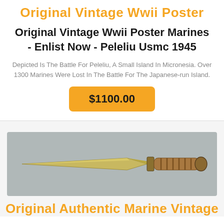Original Vintage Wwii Poster
Original Vintage Wwii Poster Marines - Enlist Now - Peleliu Usmc 1945
Depicted Is The Battle For Peleliu, A Small Island In Micronesia. Over 1300 Marines Were Lost In The Battle For The Japanese-run Island.
$1100.00
[Figure (photo): Photo of an original authentic Marine vintage combat knife with a tan/brass blade and wrapped leather handle, lying on a gray fabric background.]
Original Authentic Marine Vintage